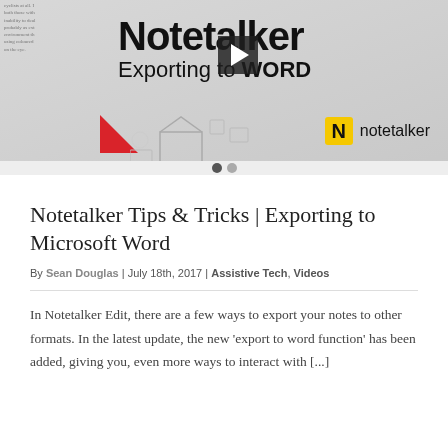[Figure (screenshot): Video thumbnail for Notetalker Tips & Tricks: Exporting to WORD. Shows the Notetalker logo, title 'Notetalker Exporting to WORD', a play button, red triangle graphic, and box icon illustrations. Navigation dots at bottom.]
Notetalker Tips & Tricks | Exporting to Microsoft Word
By Sean Douglas | July 18th, 2017 | Assistive Tech, Videos
In Notetalker Edit, there are a few ways to export your notes to other formats. In the latest update, the new 'export to word function' has been added, giving you, even more ways to interact with [...]